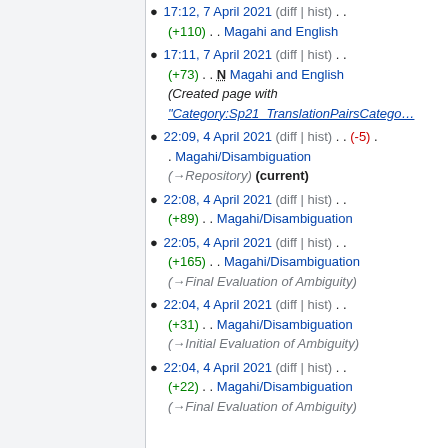17:12, 7 April 2021 (diff | hist) . . (+110) . . Magahi and English
17:11, 7 April 2021 (diff | hist) . . (+73) . . N Magahi and English (Created page with "Category:Sp21_TranslationPairsCatego…
22:09, 4 April 2021 (diff | hist) . . (-5) . . Magahi/Disambiguation (→Repository) (current)
22:08, 4 April 2021 (diff | hist) . . (+89) . . Magahi/Disambiguation
22:05, 4 April 2021 (diff | hist) . . (+165) . . Magahi/Disambiguation (→Final Evaluation of Ambiguity)
22:04, 4 April 2021 (diff | hist) . . (+31) . . Magahi/Disambiguation (→Initial Evaluation of Ambiguity)
22:04, 4 April 2021 (diff | hist) . . (+22) . . Magahi/Disambiguation (→Final Evaluation of Ambiguity)